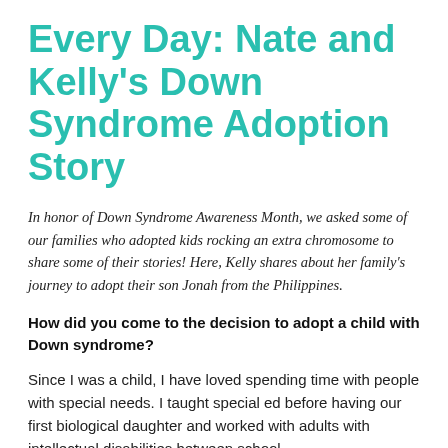Every Day: Nate and Kelly's Down Syndrome Adoption Story
In honor of Down Syndrome Awareness Month, we asked some of our families who adopted kids rocking an extra chromosome to share some of their stories! Here, Kelly shares about her family's journey to adopt their son Jonah from the Philippines.
How did you come to the decision to adopt a child with Down syndrome?
Since I was a child, I have loved spending time with people with special needs. I taught special ed before having our first biological daughter and worked with adults with intellectual disabilities between school